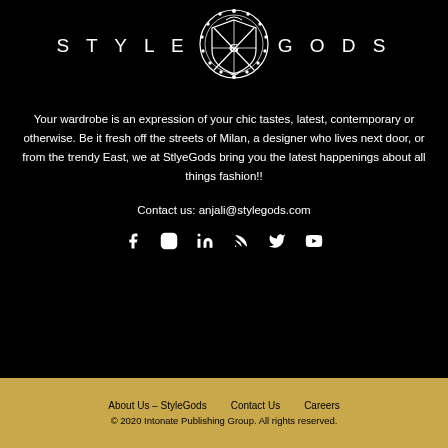[Figure (logo): Style Gods logo: white ornate crest/shield emblem centered between the words STYLE and GODS in spaced white uppercase letters]
Your wardrobe is an expression of your chic tastes, latest, contemporary or otherwise. Be it fresh off the streets of Milan, a designer who lives next door, or from the trendy East, we at StlyeGods bring you the latest happenings about all things fashion!!
Contact us: anjali@stylegods.com
[Figure (infographic): Row of 6 social media icons in white: Facebook, Instagram, LinkedIn, RSS, Twitter, YouTube]
About Us – StyleGods   Contact Us   Careers
© 2020 Intonate Publishing Group. All rights reserved.